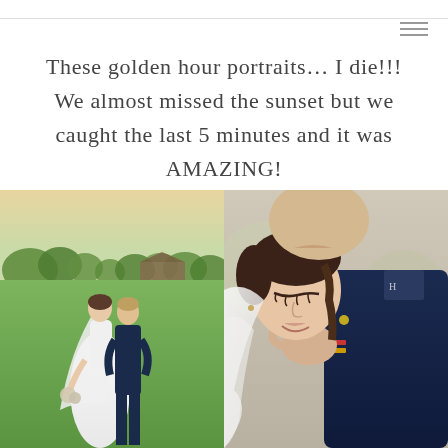These golden hour portraits… I die!!! We almost missed the sunset but we caught the last 5 minutes and it was AMAZING!
[Figure (photo): Two wedding photos side by side. Left: bride and groom standing together in a green field at golden hour, with trees and a barn in the background, bride in white dress with veil, groom in navy suit. Right: close-up of groom in navy military uniform kissing bride on the forehead, bride smiling with eyes closed, veil draped around her.]